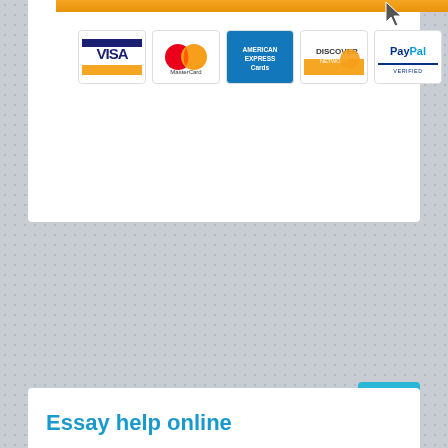[Figure (screenshot): Payment method logos: VISA, MasterCard, American Express Cards, Discover Network, PayPal Verified, 100% Secure 128 SSL Encryption badge]
[Figure (screenshot): Gray dotted/textured background area with an orange circular button on the right side]
[Figure (screenshot): Back to top button (cyan/teal square with upward chevron arrow)]
Essay help online